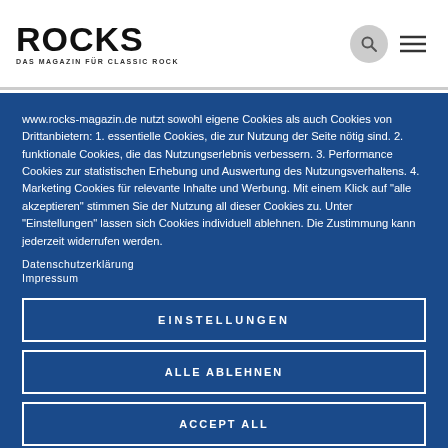ROCKS — DAS MAGAZIN FÜR CLASSIC ROCK
www.rocks-magazin.de nutzt sowohl eigene Cookies als auch Cookies von Drittanbietern: 1. essentielle Cookies, die zur Nutzung der Seite nötig sind. 2. funktionale Cookies, die das Nutzungserlebnis verbessern. 3. Performance Cookies zur statistischen Erhebung und Auswertung des Nutzungsverhaltens. 4. Marketing Cookies für relevante Inhalte und Werbung. Mit einem Klick auf "alle akzeptieren" stimmen Sie der Nutzung all dieser Cookies zu. Unter "Einstellungen" lassen sich Cookies individuell ablehnen. Die Zustimmung kann jederzeit widerrufen werden.
Datenschutzerklärung
Impressum
EINSTELLUNGEN
ALLE ABLEHNEN
ACCEPT ALL